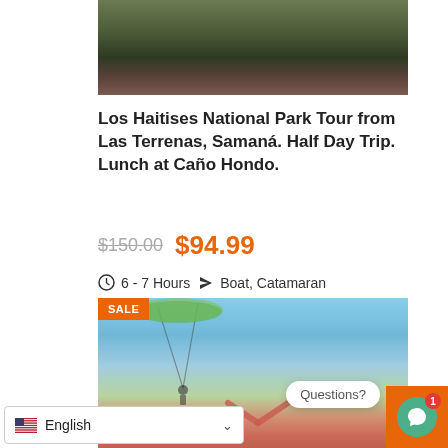[Figure (photo): Nature/forest scene, dark rocky background with green foliage at top]
Los Haitises National Park Tour from Las Terrenas, Samaná. Half Day Trip. Lunch at Caño Hondo.
$150.00  $94.99
6 - 7 Hours  Boat, Catamaran
[Figure (photo): Paragliding/swing activity photo with blue sky background, person visible, SALE badge in top-left corner]
Questions?
English